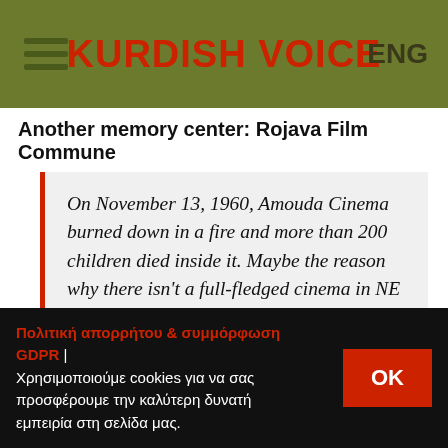KURDISH VOICE  ENG
Another memory center: Rojava Film Commune
On November 13, 1960, Amouda Cinema burned down in a fire and more than 200 children died inside it. Maybe the reason why there isn't a full-fledged cinema in NE Syria. But Rojava Film Commune keeps working to positively revive the memory of people about
Πολιτική απορρήτου & συμμόρφωση GDPR | Χρησιμοποιούμε cookies για να σας προσφέρουμε την καλύτερη δυνατή εμπειρία στη σελίδα μας.